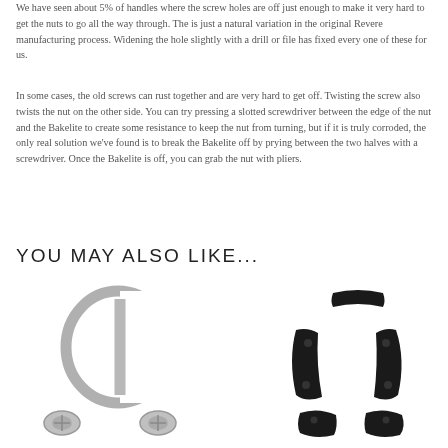We have seen about 5% of handles where the screw holes are off just enough to make it very hard to get the nuts to go all the way through. The is just a natural variation in the original Revere manufacturing process. Widening the hole slightly with a drill or file has fixed every one of these for us.
In some cases, the old screws can rust together and are very hard to get off. Twisting the screw also twists the nut on the other side. You can try pressing a slotted screwdriver between the edge of the nut and the Bakelite to create some resistance to keep the nut from turning, but if it is truly corroded, the only real solution we've found is to break the Bakelite off by prying between the two halves with a screwdriver. Once the Bakelite is off, you can grab the nut with pliers.
YOU MAY ALSO LIKE...
[Figure (photo): Silver/chrome colored D-ring handle hardware with screws, shown from above on white background]
[Figure (photo): Set of black Bakelite handle pieces (three curved pieces and two end caps), shown on white background]